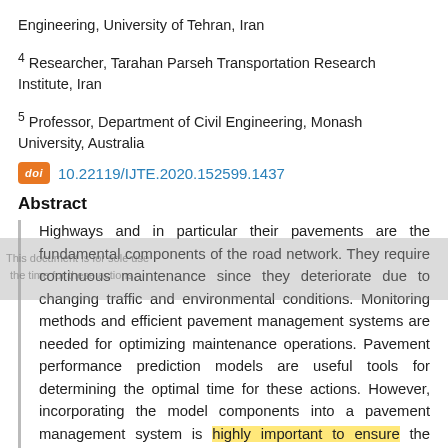Engineering, University of Tehran, Iran
4 Researcher, Tarahan Parseh Transportation Research Institute, Iran
5 Professor, Department of Civil Engineering, Monash University, Australia
10.22119/IJTE.2020.152599.1437
Abstract
Highways and in particular their pavements are the fundamental components of the road network. They require continuous maintenance since they deteriorate due to changing traffic and environmental conditions. Monitoring methods and efficient pavement management systems are needed for optimizing maintenance operations. Pavement performance prediction models are useful tools for determining the optimal time for these actions. However, incorporating the model components into a pavement management system is highly important to ensure the model efficiency. This paper presents the existing pavement performance prediction models and introduces their components. A specific model is reproduced for Tehran